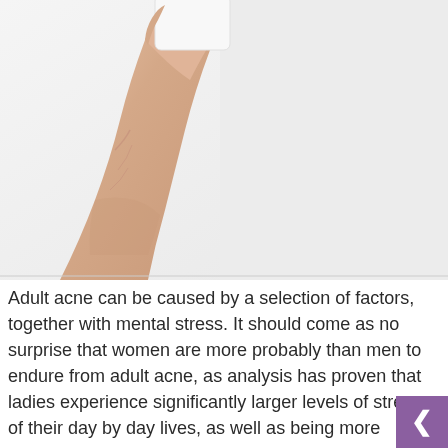[Figure (photo): A hand held up against a light gray/white background, holding a small white rectangular object (possibly a product or card) at the top. The arm and hand have fair skin tone.]
Adult acne can be caused by a selection of factors, together with mental stress. It should come as no surprise that women are more probably than men to endure from adult acne, as analysis has proven that ladies experience significantly larger levels of stress of their day by day lives, as well as being more susceptible to hormonal imbalances, significantly